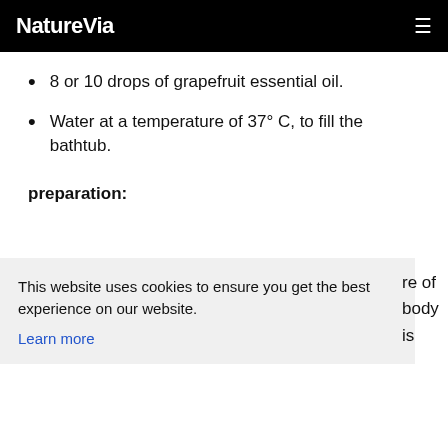NatureVia
8 or 10 drops of grapefruit essential oil.
Water at a temperature of 37° C, to fill the bathtub.
preparation:
This website uses cookies to ensure you get the best experience on our website. Learn more
re of body is